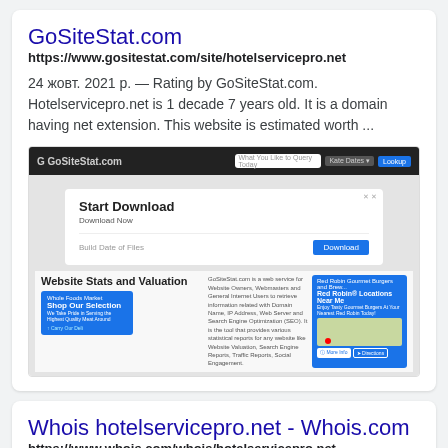GoSiteStat.com
https://www.gositestat.com/site/hotelservicepro.net
24 жовт. 2021 р. — Rating by GoSiteStat.com. Hotelservicepro.net is 1 decade 7 years old. It is a domain having net extension. This website is estimated worth ...
[Figure (screenshot): Screenshot of GoSiteStat.com website showing a 'Start Download' ad overlay and a 'Website Stats and Valuation' section with map cards]
Whois hotelservicepro.net - Whois.com
https://www.whois.com/whois/hotelservicepro.net